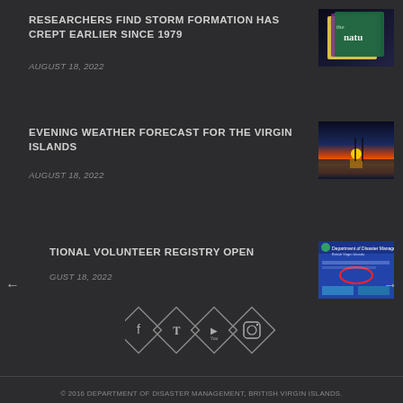RESEARCHERS FIND STORM FORMATION HAS CREPT EARLIER SINCE 1979
AUGUST 18, 2022
[Figure (photo): Stack of Nature magazine issues]
EVENING WEATHER FORECAST FOR THE VIRGIN ISLANDS
AUGUST 18, 2022
[Figure (photo): Sunset over ocean near Virgin Islands]
TIONAL VOLUNTEER REGISTRY OPEN
GUST 18, 2022
[Figure (screenshot): Department of Disaster Management British Virgin Islands website screenshot]
[Figure (infographic): Social media icons: Facebook, Twitter, YouTube, Instagram in diamond shapes]
© 2016 DEPARTMENT OF DISASTER MANAGEMENT, BRITISH VIRGIN ISLANDS.